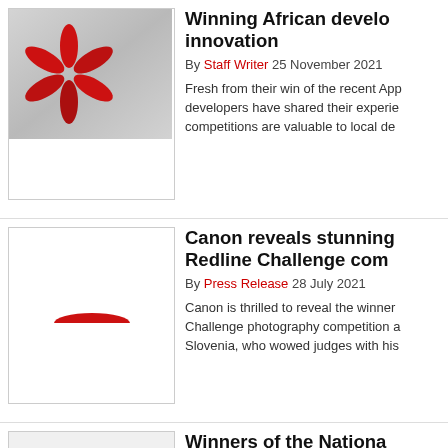[Figure (photo): Huawei logo with red petals on reflective background]
Winning African develo innovation
By Staff Writer 25 November 2021
Fresh from their win of the recent App developers have shared their experience competitions are valuable to local de
[Figure (logo): Canon red partial logo mark on white background]
Canon reveals stunning Redline Challenge com
By Press Release 28 July 2021
Canon is thrilled to reveal the winner Challenge photography competition a Slovenia, who wowed judges with his
Winners of the Nationa #ExploreWithNatGeo P